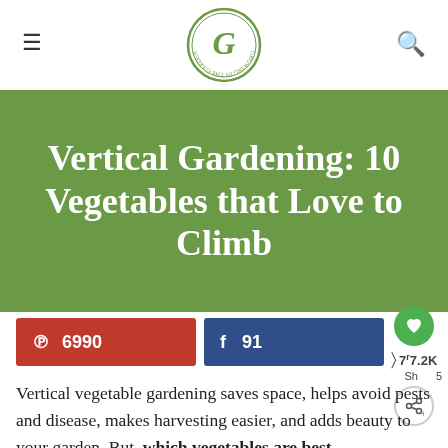Growing in the Garden (logo with hamburger menu and search icon)
Vertical Gardening: 10 Vegetables that Love to Climb
6990 (Pinterest share count)
91 (Facebook share count)
7.2K Shares 5
Vertical vegetable gardening saves space, helps avoid pests and disease, makes harvesting easier, and adds beauty to your garden. But, which vegetables are best